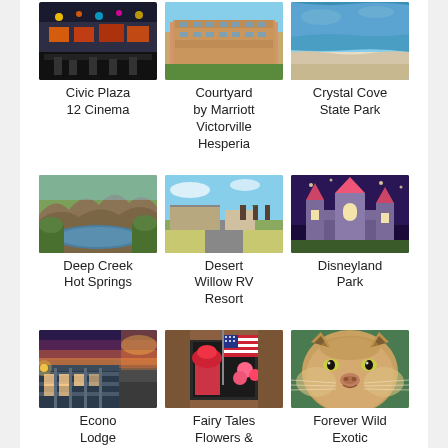[Figure (photo): Civic Plaza 12 Cinema - interior/exterior of a cinema with colorful lights]
[Figure (photo): Courtyard by Marriott Victorville Hesperia - hotel building exterior]
[Figure (photo): Crystal Cove State Park - aerial view of beach and ocean coastline]
Civic Plaza 12 Cinema
Courtyard by Marriott Victorville Hesperia
Crystal Cove State Park
[Figure (photo): Deep Creek Hot Springs - natural hot springs surrounded by rocky hills]
[Figure (photo): Desert Willow RV Resort - RV park with trees and road]
[Figure (photo): Disneyland Park - Sleeping Beauty Castle at Disneyland]
Deep Creek Hot Springs
Desert Willow RV Resort
Disneyland Park
[Figure (photo): Econo Lodge Hesperia - Victorville - hotel exterior at dusk/sunset]
[Figure (photo): Fairy Tales Flowers & Gifts - storefront with American flag]
[Figure (photo): Forever Wild Exotic Animal Sanctuary - close-up of a mountain lion/cougar]
Econo Lodge Hesperia - Victorville l...
Fairy Tales Flowers & Gifts
Forever Wild Exotic Animal Sanctuary